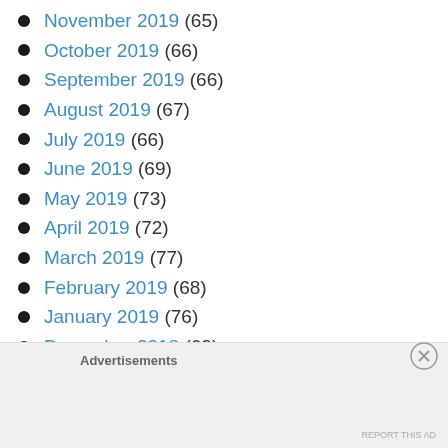November 2019 (65)
October 2019 (66)
September 2019 (66)
August 2019 (67)
July 2019 (66)
June 2019 (69)
May 2019 (73)
April 2019 (72)
March 2019 (77)
February 2019 (68)
January 2019 (76)
December 2018 (69)
November 2018 (59)
Advertisements
REPORT THIS AD